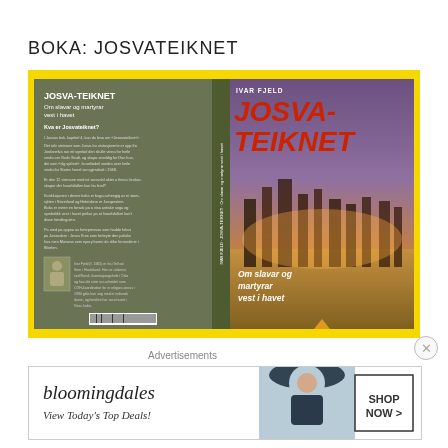BOKA: JOSVATEIKNET
[Figure (photo): Book cover image for JOSVA-TEIKNET by Ivar Fjeld, showing front and back cover. Back cover is olive/grey with white text including the title JOSVA-TEIKNET and subtitle Om slavar og martyrar vest i havet, body text in Norwegian, and an author photo. Front cover shows standing stones at sunset with the title JOSVA-TEIKNET in large red italic letters and subtitle Om slavar og martyrar vest i havet. Yellow background around covers.]
Advertisements
[Figure (screenshot): Bloomingdale's advertisement banner: bloomingdales logo, 'View Today's Top Deals!' tagline, photo of woman in large hat, SHOP NOW button.]